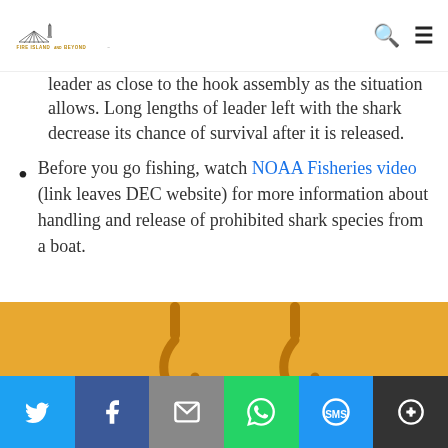Fire Island and Beyond — navigation header with logo, search and menu icons
leader as close to the hook assembly as the situation allows. Long lengths of leader left with the shark decrease its chance of survival after it is released.
Before you go fishing, watch NOAA Fisheries video (link leaves DEC website) for more information about handling and release of prohibited shark species from a boat.
[Figure (photo): Yellow/gold background with two gold fishing hook clasps visible at top]
Social share bar: Twitter, Facebook, Email, WhatsApp, SMS, More